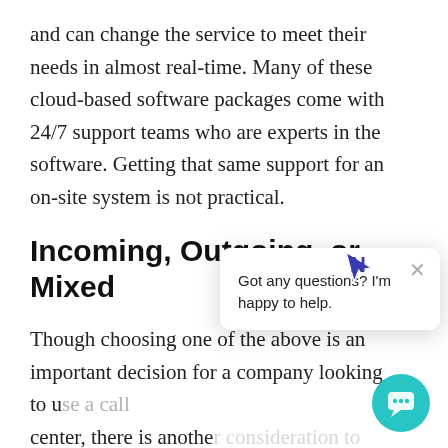and can change the service to meet their needs in almost real-time. Many of these cloud-based software packages come with 24/7 support teams who are experts in the software. Getting that same support for an on-site system is not practical.
Incoming, Outgoing, or Mixed
Though choosing one of the above is an important decision for a company looking to use a call center, there is another consideration to make. What type of calls do you expect to make at your call center? Are you going to primarily take incoming calls, make outgoing calls, or perform a mix of both? Most call center software now supports both inbound and outbound calls, though that is not
[Figure (screenshot): Chat widget overlay showing a chatbot message: 'Got any questions? I'm happy to help.' with a close (X) button and a teal circular chat bubble icon in the bottom right corner. A cursor icon (N-shaped) appears near the top of the overlay.]